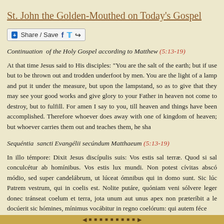St. John the Golden-Mouthed on Today's Gospel
[Figure (other): Share/Save social sharing button with Facebook, Twitter, and share icons]
Continuation  of the Holy Gospel according to Matthew (5:13-19)
At that time Jesus said to His disciples: "You are the salt of the earth; but if use but to be thrown out and trodden underfoot by men. You are the light of a lamp and put it under the measure, but upon the lampstand, so as to give that they may see your good works and give glory to your Father in heaven not come to destroy, but to fulfill. For amen I say to you, till heaven and things have been accomplished. Therefore whoever does away with one of kingdom of heaven; but whoever carries them out and teaches them, he sha
Sequéntia  sancti Evangélii secúndum Matthaeum (5:13-19)
In illo témpore: Dixit Jesus discípulis suis: Vos estis sal terræ. Quod si sal conculcétur ab homínibus. Vos estis lux mundi. Non potest cívitas abscó módio, sed super candelábrum, ut lúceat ómnibus qui in domo sunt. Sic lúc Patrem vestrum, qui in coelis est. Nolite putáre, quóniam veni sólvere lege donec tránseat coelum et terra, jota unum aut unus apex non præteríbit a le docúerit sic hómines, mínimus vocábitur in regno coelórum: qui autem féce
◄ ► navigation arrows